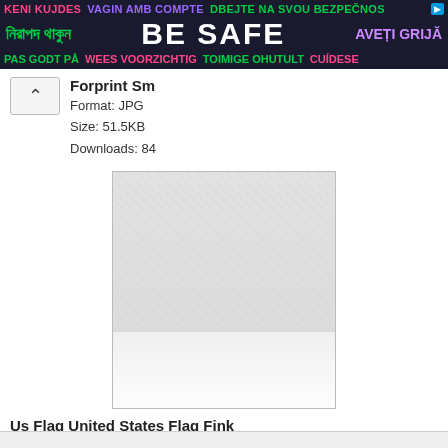[Figure (infographic): Safety banner with multilingual 'BE SAFE' text in colorful letters on dark background. Row 1: 'KENI KUJDES' (pink), 'VAGIN AMB COMPTE' (purple), 'DBEJTE NA SVOU BEZPECNOS' (green). Row 2: Bengali text (green), 'BE SAFE' (white, large bold), 'AVETI GRIJA' (purple). Row 3: 'PAS GODT PA' (green), 'WEES VOORZICHTIG' (pink), 'TOIMIGE OHUTULT' (green), 'CUIDESE' (pink).]
Forprint Sm
Format: JPG
Size: 51.5KB
Downloads: 84
[Figure (photo): Thumbnail placeholder image with light gray checkered background fading to white at bottom, bordered by a thin gray rectangle.]
Us Flag United States Flag Fink
Format: JPEG
Size: 185.8KB